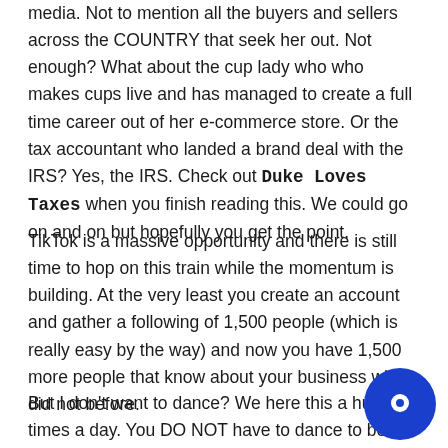media. Not to mention all the buyers and sellers across the COUNTRY that seek her out. Not enough? What about the cup lady who who makes cups live and has managed to create a full time career out of her e-commerce store. Or the tax accountant who landed a brand deal with the IRS? Yes, the IRS. Check out Duke Loves Taxes when you finish reading this. We could go on and on but hopefully you get the point.
TikTok is a massive opportunity and there is still time to hop on this train while the momentum is building. At the very least you create an account and gather a following of 1,500 people (which is really easy by the way) and now you have 1,500 more people that know about your business who did not before.
But I don't want to dance? We here this a hundred times a day. You DO NOT have to dance to be successful on